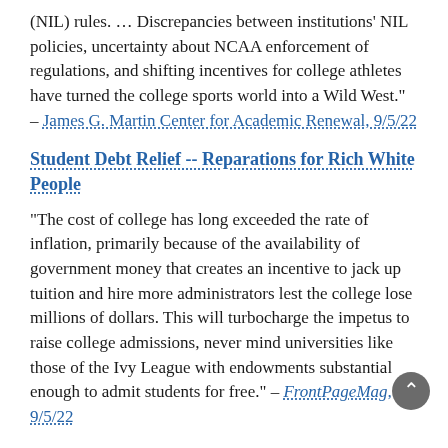(NIL) rules. … Discrepancies between institutions' NIL policies, uncertainty about NCAA enforcement of regulations, and shifting incentives for college athletes have turned the college sports world into a Wild West." – James G. Martin Center for Academic Renewal, 9/5/22
Student Debt Relief -- Reparations for Rich White People
"The cost of college has long exceeded the rate of inflation, primarily because of the availability of government money that creates an incentive to jack up tuition and hire more administrators lest the college lose millions of dollars. This will turbocharge the impetus to raise college admissions, never mind universities like those of the Ivy League with endowments substantial enough to admit students for free." – FrontPageMag, 9/5/22